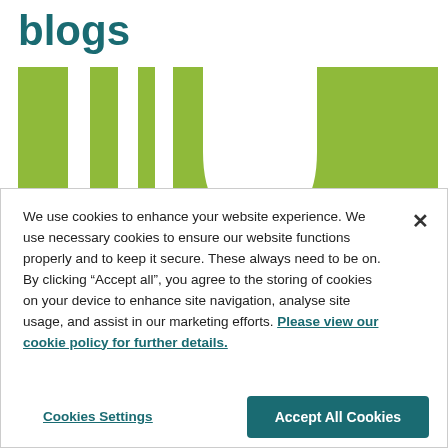blogs
[Figure (logo): Green background with white abstract logo mark consisting of vertical bars and a curved snake-like shape]
We use cookies to enhance your website experience. We use necessary cookies to ensure our website functions properly and to keep it secure. These always need to be on. By clicking “Accept all”, you agree to the storing of cookies on your device to enhance site navigation, analyse site usage, and assist in our marketing efforts. Please view our cookie policy for further details.
Cookies Settings
Accept All Cookies